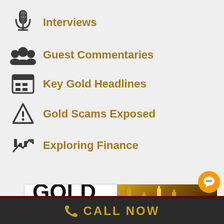Interviews
Guest Commentaries
Key Gold Headlines
Gold Scams Exposed
Exploring Finance
[Figure (infographic): GOLD vs GLD banner with gold candlestick chart image on right side]
CALL NOW